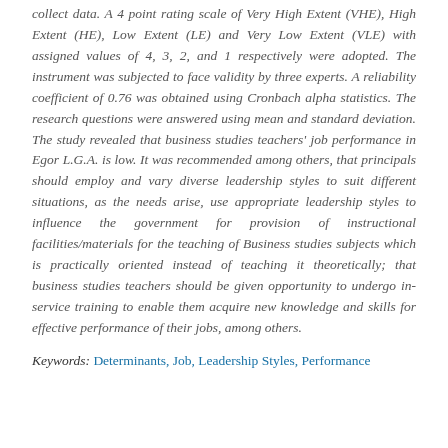collect data. A 4 point rating scale of Very High Extent (VHE), High Extent (HE), Low Extent (LE) and Very Low Extent (VLE) with assigned values of 4, 3, 2, and 1 respectively were adopted. The instrument was subjected to face validity by three experts. A reliability coefficient of 0.76 was obtained using Cronbach alpha statistics. The research questions were answered using mean and standard deviation. The study revealed that business studies teachers' job performance in Egor L.G.A. is low. It was recommended among others, that principals should employ and vary diverse leadership styles to suit different situations, as the needs arise, use appropriate leadership styles to influence the government for provision of instructional facilities/materials for the teaching of Business studies subjects which is practically oriented instead of teaching it theoretically; that business studies teachers should be given opportunity to undergo in-service training to enable them acquire new knowledge and skills for effective performance of their jobs, among others.
Keywords: Determinants, Job, Leadership Styles, Performance